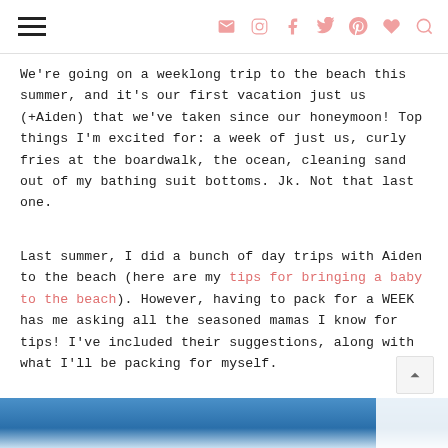[hamburger menu] [email icon] [instagram icon] [facebook icon] [twitter icon] [pinterest icon] [heart icon] [search icon]
We're going on a weeklong trip to the beach this summer, and it's our first vacation just us (+Aiden) that we've taken since our honeymoon! Top things I'm excited for: a week of just us, curly fries at the boardwalk, the ocean, cleaning sand out of my bathing suit bottoms. Jk. Not that last one.
Last summer, I did a bunch of day trips with Aiden to the beach (here are my tips for bringing a baby to the beach). However, having to pack for a WEEK has me asking all the seasoned mamas I know for tips! I've included their suggestions, along with what I'll be packing for myself.
[Figure (photo): Beach scene with blue sky and clouds, partially obscured by white overlay in bottom right corner]